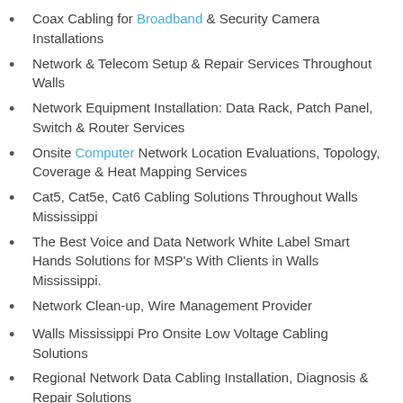Coax Cabling for Broadband & Security Camera Installations
Network & Telecom Setup & Repair Services Throughout Walls
Network Equipment Installation: Data Rack, Patch Panel, Switch & Router Services
Onsite Computer Network Location Evaluations, Topology, Coverage & Heat Mapping Services
Cat5, Cat5e, Cat6 Cabling Solutions Throughout Walls Mississippi
The Best Voice and Data Network White Label Smart Hands Solutions for MSP's With Clients in Walls Mississippi.
Network Clean-up, Wire Management Provider
Walls Mississippi Pro Onsite Low Voltage Cabling Solutions
Regional Network Data Cabling Installation, Diagnosis & Repair Solutions
Existing Facilities Cabling Diagnostics, Mapping,